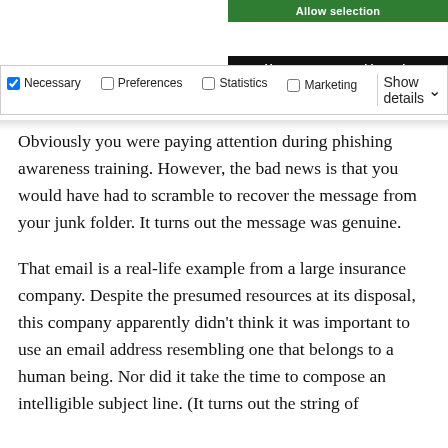[Figure (screenshot): Green 'Allow selection' button (cookie consent UI, partially cropped at top)]
[Figure (screenshot): Black 'Use necessary cookies only' button (cookie consent UI)]
[Figure (screenshot): Cookie consent checkbox row with Necessary (checked), Preferences, Statistics, Marketing checkboxes and Show details dropdown]
Obviously you were paying attention during phishing awareness training. However, the bad news is that you would have had to scramble to recover the message from your junk folder. It turns out the message was genuine.
That email is a real-life example from a large insurance company. Despite the presumed resources at its disposal, this company apparently didn't think it was important to use an email address resembling one that belongs to a human being. Nor did it take the time to compose an intelligible subject line. (It turns out the string of